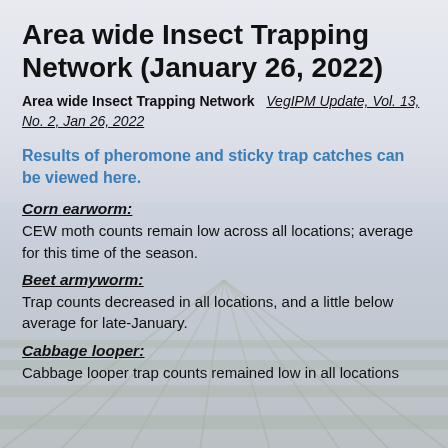Area wide Insect Trapping Network (January 26, 2022)
Area wide Insect Trapping Network   VegIPM Update, Vol. 13, No. 2, Jan 26, 2022
Results of pheromone and sticky trap catches can be viewed here.
Corn earworm:
CEW moth counts remain low across all locations; average for this time of the season.
Beet armyworm:
Trap counts decreased in all locations, and a little below average for late-January.
Cabbage looper:
Cabbage looper trap counts remained low in all locations